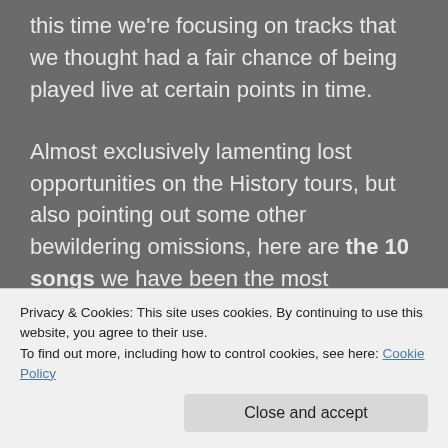this time we're focusing on tracks that we thought had a fair chance of being played live at certain points in time.
Almost exclusively lamenting lost opportunities on the History tours, but also pointing out some other bewildering omissions, here are the 10 songs we have been the most disappointed at not finding in the setlist. Let us know yours in the comments!
Privacy & Cookies: This site uses cookies. By continuing to use this website, you agree to their use.
To find out more, including how to control cookies, see here: Cookie Policy
Close and accept